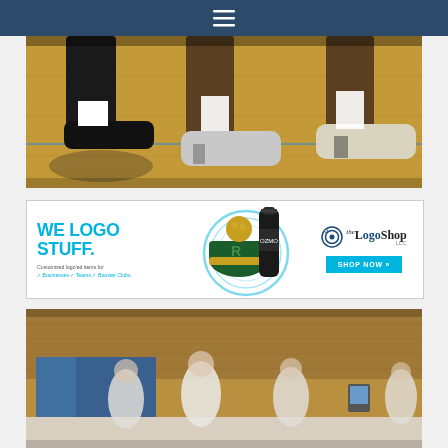[Figure (photo): Navigation bar with hamburger menu icon on dark blue background]
[Figure (photo): Close-up photo of basketball players' feet and sneakers on a wooden gym court]
[Figure (advertisement): The LogoShop advertisement banner: 'WE LOGO STUFF.' with customized logo'd items for Businesses, Teams, Booster Clubs. Shows green and yellow beanie hat and black water bottle. SHOP NOW button.]
[Figure (photo): Photo of volleyball players in white uniforms standing in a gym with blue padding on walls]